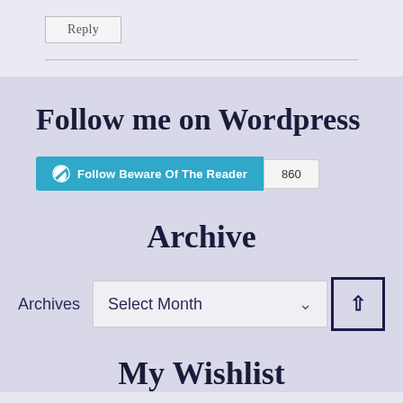Reply
Follow me on Wordpress
[Figure (other): WordPress follow button showing 'Follow Beware Of The Reader' with follower count 860]
Archive
Archives  Select Month
My Wishlist